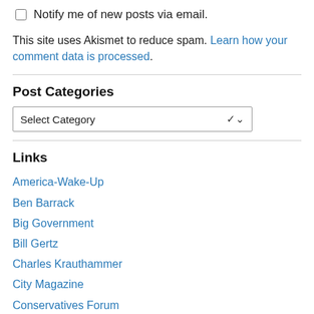Notify me of new posts via email.
This site uses Akismet to reduce spam. Learn how your comment data is processed.
Post Categories
Select Category
Links
America-Wake-Up
Ben Barrack
Big Government
Bill Gertz
Charles Krauthammer
City Magazine
Conservatives Forum